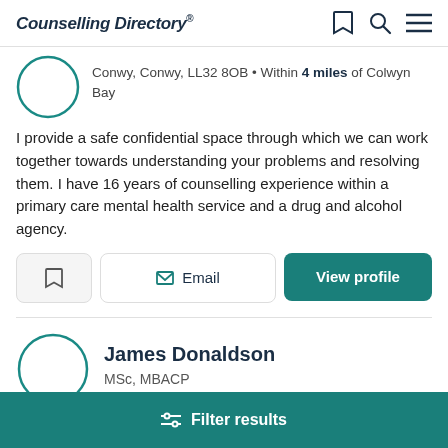Counselling Directory
Conwy, Conwy, LL32 8OB • Within 4 miles of Colwyn Bay
I provide a safe confidential space through which we can work together towards understanding your problems and resolving them. I have 16 years of counselling experience within a primary care mental health service and a drug and alcohol agency.
Email | View profile
James Donaldson
MSc, MBACP
Filter results